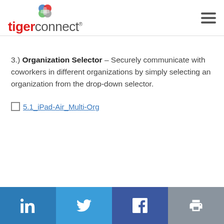tigerconnect
3.) Organization Selector – Securely communicate with coworkers in different organizations by simply selecting an organization from the drop-down selector.
5.1_iPad-Air_Multi-Org
LinkedIn | Twitter | Facebook | Print